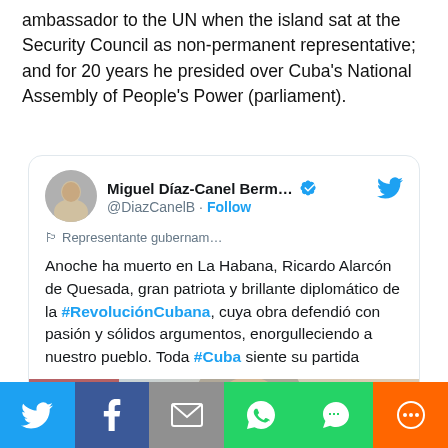ambassador to the UN when the island sat at the Security Council as non-permanent representative; and for 20 years he presided over Cuba's National Assembly of People's Power (parliament).
[Figure (screenshot): Embedded tweet from Miguel Díaz-Canel Bermúdez (@DiazCanelB) with verified badge and Twitter bird icon. Tweet text in Spanish: 'Anoche ha muerto en La Habana, Ricardo Alarcón de Quesada, gran patriota y brillante diplomático de la #RevoluciónCubana, cuya obra defendió con pasión y sólidos argumentos, enorgulleciendo a nuestro pueblo. Toda #Cuba siente su partida'. Tweet includes a photo of an elderly man.]
[Figure (infographic): Social sharing bar at the bottom with six buttons: Twitter (blue), Facebook (dark blue), Email (gray), WhatsApp (green), SMS (green), and More/share (orange).]